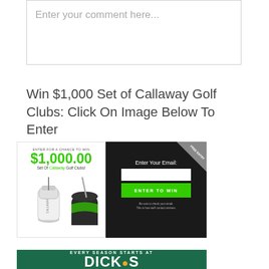[Figure (screenshot): Comment text input box with placeholder text 'Enter your comment here...']
Win $1,000 Set of Callaway Golf Clubs: Click On Image Below To Enter
[Figure (infographic): Callaway Golf Clubs contest entry ad. Left side: white background with text 'ENTER FOR A CHANCE TO WIN $1,000.00 Set Of Callaway Golf Clubs!' and images of golf bag and club. Right side: dark background with email entry form, 'Enter Your Email:' label, input box, green 'ENTER TO WIN' button, and fine print 'Be sure to check your email. This is how we will contact winners.']
[Figure (infographic): Dick's Sporting Goods banner ad with dark green background. Text reads 'EVERY SEASON STARTS AT' and 'DICK'S' in large white letters with an orange basketball icon.]